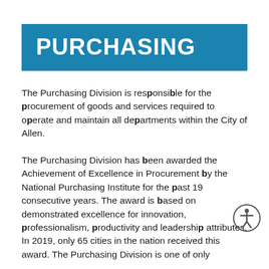PURCHASING
The Purchasing Division is responsible for the procurement of goods and services required to operate and maintain all departments within the City of Allen.
The Purchasing Division has been awarded the Achievement of Excellence in Procurement by the National Purchasing Institute for the past 19 consecutive years. The award is based on demonstrated excellence for innovation, professionalism, productivity and leadership attributes. In 2019, only 65 cities in the nation received this award. The Purchasing Division is one of only